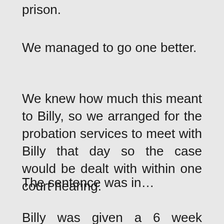prison.
We managed to go one better.
We knew how much this meant to Billy, so we arranged for the probation services to meet with Billy that day so the case would be dealt with within one court hearing.
The sentence was in…
Billy was given a 6 week custodial sentence